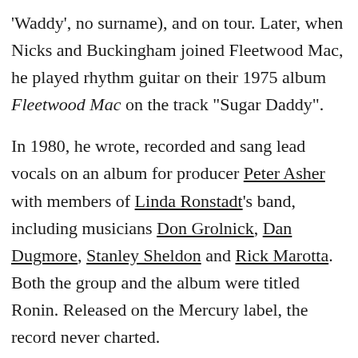'Waddy', no surname), and on tour. Later, when Nicks and Buckingham joined Fleetwood Mac, he played rhythm guitar on their 1975 album Fleetwood Mac on the track "Sugar Daddy".
In 1980, he wrote, recorded and sang lead vocals on an album for producer Peter Asher with members of Linda Ronstadt's band, including musicians Don Grolnick, Dan Dugmore, Stanley Sheldon and Rick Marotta. Both the group and the album were titled Ronin. Released on the Mercury label, the record never charted.
In 1984 he played on Steve Perry's (Journey) solo album Street Talk.